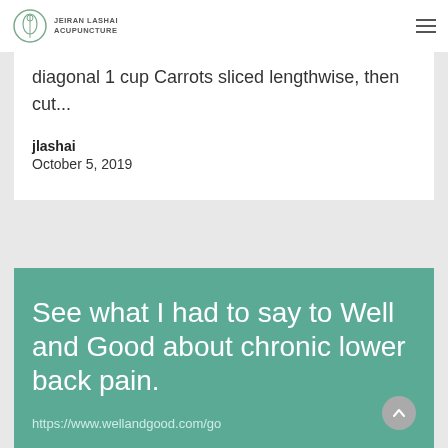JEIRAN LASHAI ACUPUNCTURE
diagonal 1 cup Carrots sliced lengthwise, then cut...
jlashai
October 5, 2019
See what I had to say to Well and Good about chronic lower back pain.
https://www.wellandgood.com/go